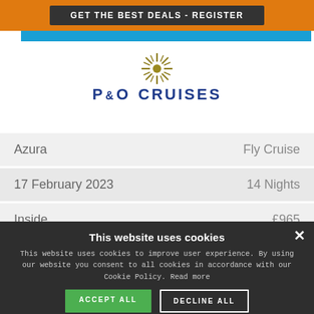GET THE BEST DEALS - REGISTER
[Figure (logo): P&O Cruises logo with gold starburst/sun icon above the text P&O CRUISES in dark navy blue]
| Azura | Fly Cruise |
| 17 February 2023 | 14 Nights |
| Inside | £965 |
This website uses cookies
This website uses cookies to improve user experience. By using our website you consent to all cookies in accordance with our Cookie Policy. Read more
ACCEPT ALL
DECLINE ALL
SHOW DETAILS